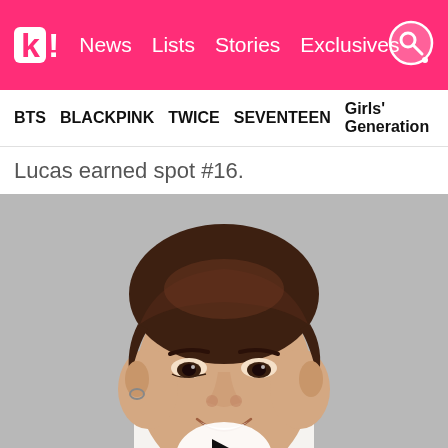k! News  Lists  Stories  Exclusives
BTS  BLACKPINK  TWICE  SEVENTEEN  Girls' Generation
Lucas earned spot #16.
[Figure (photo): Close-up photo of Lucas (NCT/WayV member) smiling, with brown hair and a small hoop earring, wearing white, against a grey background. A video play button is visible at the bottom center.]